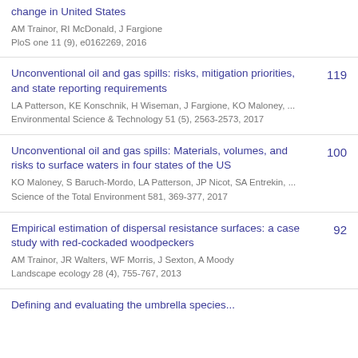change in United States
AM Trainor, RI McDonald, J Fargione
PloS one 11 (9), e0162269, 2016
Unconventional oil and gas spills: risks, mitigation priorities, and state reporting requirements
LA Patterson, KE Konschnik, H Wiseman, J Fargione, KO Maloney, ...
Environmental Science & Technology 51 (5), 2563-2573, 2017
119
Unconventional oil and gas spills: Materials, volumes, and risks to surface waters in four states of the US
KO Maloney, S Baruch-Mordo, LA Patterson, JP Nicot, SA Entrekin, ...
Science of the Total Environment 581, 369-377, 2017
100
Empirical estimation of dispersal resistance surfaces: a case study with red-cockaded woodpeckers
AM Trainor, JR Walters, WF Morris, J Sexton, A Moody
Landscape ecology 28 (4), 755-767, 2013
92
Defining and evaluating the umbrella species...